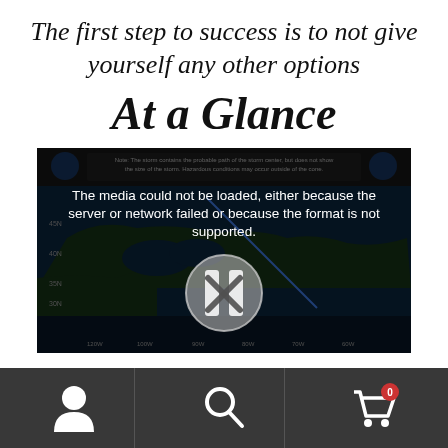The first step to success is to not give yourself any other options
At a Glance
[Figure (screenshot): A video player showing a NOAA weather map. The media failed to load with error message: 'The media could not be loaded, either because the server or network failed or because the format is not supported.' A broken media icon (circle with X) is shown in the center.]
Bottom navigation bar with user icon, search icon, and shopping cart icon (badge: 0)